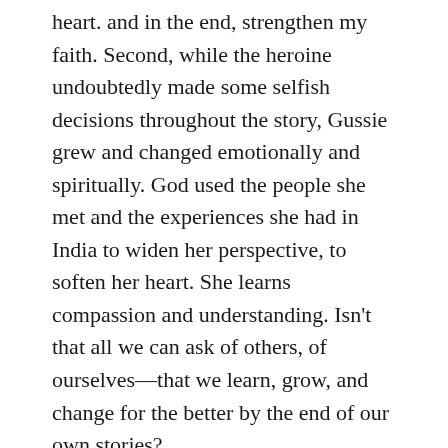heart. and in the end, strengthen my faith. Second, while the heroine undoubtedly made some selfish decisions throughout the story, Gussie grew and changed emotionally and spiritually. God used the people she met and the experiences she had in India to widen her perspective, to soften her heart. She learns compassion and understanding. Isn't that all we can ask of others, of ourselves—that we learn, grow, and change for the better by the end of our own stories?
I cannot end this review without a mention of the strong cast of secondary characters Duffy brings to the page. From the endearing Uncle James, who I kept hoping would choose to stay with Gussie in India, to her mentors Bimla and Ramabai—each brought life and